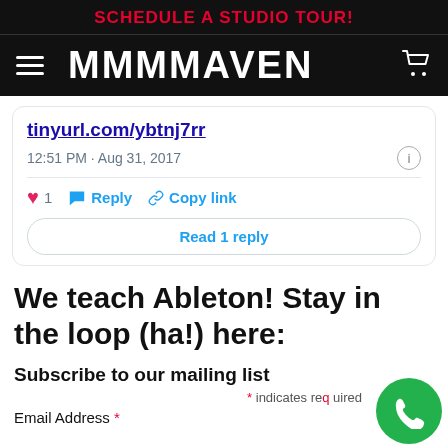SCHEDULE A STUDIO TOUR!
[Figure (screenshot): MMMMAVEN website navigation bar with hamburger menu, brand logo, and cart icon on black background]
tinyurl.com/ybtnj7rr
12:51 PM · Aug 31, 2017
1  Reply  Copy link
Read 1 reply
We teach Ableton! Stay in the loop (ha!) here:
Subscribe to our mailing list
* indicates required
Email Address *